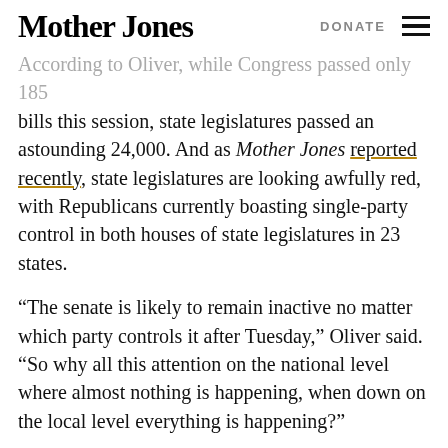Mother Jones   DONATE
According to Oliver, while Congress passed only 185 bills this session, state legislatures passed an astounding 24,000. And as Mother Jones reported recently, state legislatures are looking awfully red, with Republicans currently boasting single-party control in both houses of state legislatures in 23 states.
“The senate is likely to remain inactive no matter which party controls it after Tuesday,” Oliver said. “So why all this attention on the national level where almost nothing is happening, when down on the local level everything is happening?”
Great question. Watch below for more.